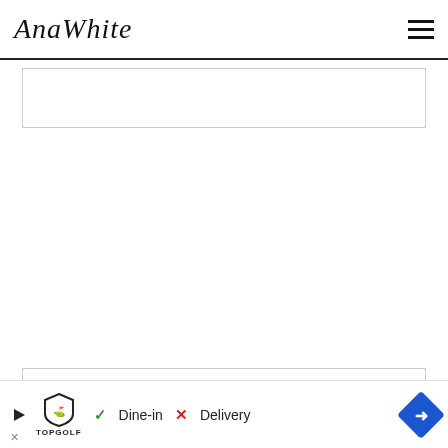AnaWhite
[Figure (other): Content placeholder box (top) - empty bordered rectangle]
[Figure (other): Content placeholder box (bottom) - empty bordered rectangle]
STE
[Figure (other): Advertisement banner: TopGolf logo with Dine-in checkmark and Delivery X, navigation arrow icon]